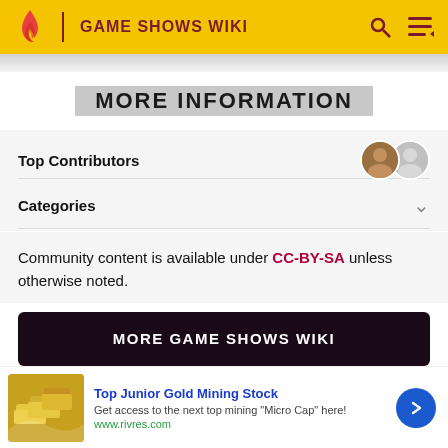GAME SHOWS WIKI
MORE INFORMATION
Top Contributors
Categories
Community content is available under CC-BY-SA unless otherwise noted.
MORE GAME SHOWS WIKI
Top Junior Gold Mining Stock
Get access to the next top mining "Micro Cap" here!
www.rivres.com